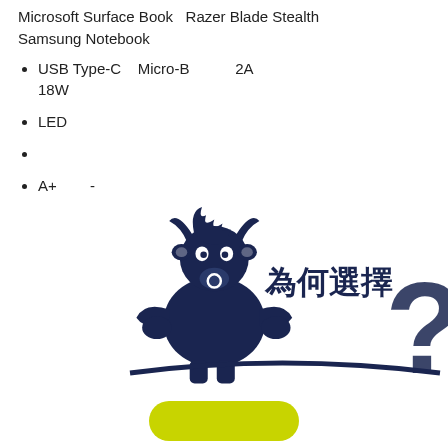Microsoft Surface Book  Razer Blade Stealth  Samsung Notebook
USB Type-C    Micro-B            2A    18W
LED
A+          -      Cadex
IATA
4,000
[Figure (illustration): A muscular bull mascot logo holding something, with Chinese text '為何選擇?' (Why choose?) and a question mark graphic in dark navy blue.]